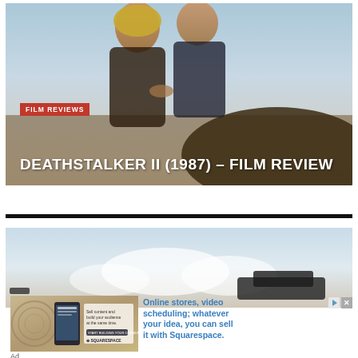[Figure (photo): Movie promotional image showing two people (man and woman) in an action/romantic pose, with sky background. Red badge reading FILM REVIEWS overlaid, with large white title text DEATHSTALKER II (1987) – FILM REVIEW at bottom.]
DEATHSTALKER II (1987) – FILM REVIEW
[Figure (photo): Partial second article image showing sky and clouds with a dark object, likely another film review or article thumbnail.]
[Figure (screenshot): Advertisement for Squarespace showing a mobile app interface with text 'Sell content and build your audience at the same time.' and Squarespace logo, alongside text 'Online stores, video scheduling; whatever your idea, you can sell it with Squarespace.']
Ad